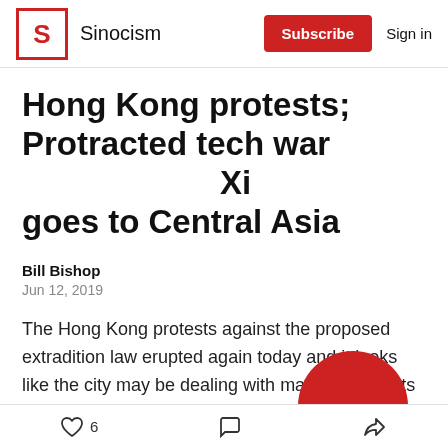Sinocism | Subscribe | Sign in
Hong Kong protests; Protracted tech war 　　　　　　Xi goes to Central Asia
Bill Bishop
Jun 12, 2019
The Hong Kong protests against the proposed extradition law erupted again today and it looks like the city may be dealing with massive protests for the foreseeable future, just as in 2014 during Occupy Hong